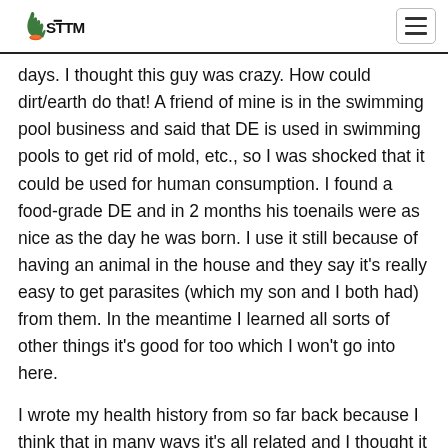STTM logo and navigation
days. I thought this guy was crazy. How could dirt/earth do that! A friend of mine is in the swimming pool business and said that DE is used in swimming pools to get rid of mold, etc., so I was shocked that it could be used for human consumption. I found a food-grade DE and in 2 months his toenails were as nice as the day he was born. I use it still because of having an animal in the house and they say it’s really easy to get parasites (which my son and I both had) from them. In the meantime I learned all sorts of other things it’s good for too which I won’t go into here.
I wrote my health history from so far back because I think that in many ways it’s all related and I thought it might be helpful to others out there. There has been a progressive revelation through seeking for answers (and trial and error)